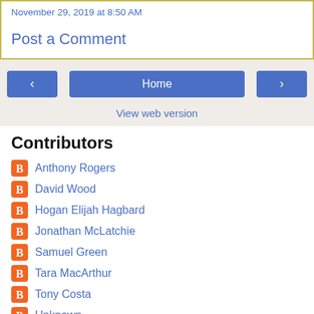November 29, 2019 at 8:50 AM
Post a Comment
[Figure (other): Navigation buttons: left arrow, Home button, right arrow]
View web version
Contributors
Anthony Rogers
David Wood
Hogan Elijah Hagbard
Jonathan McLatchie
Samuel Green
Tara MacArthur
Tony Costa
Unknown